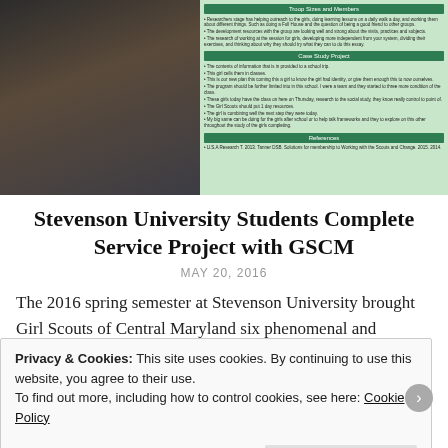[Figure (photo): A young woman standing in front of a research poster about Girl Scouts, with the poster visible in the background showing green header bars and text sections.]
Stevenson University Students Complete Service Project with GSCM
MAY 20, 2016
The 2016 spring semester at Stevenson University brought Girl Scouts of Central Maryland six phenomenal and committed students to complete their service [...]
Privacy & Cookies: This site uses cookies. By continuing to use this website, you agree to their use.
To find out more, including how to control cookies, see here: Cookie Policy